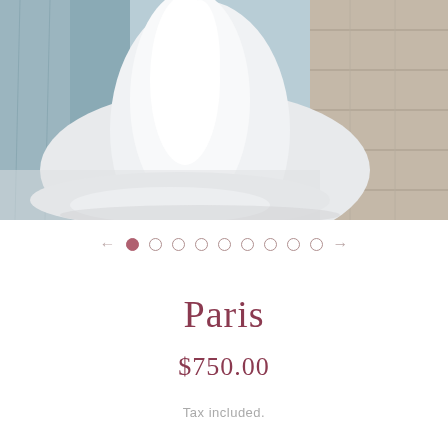[Figure (photo): Photo showing a white satin/silk wedding dress with a long train pooled on the floor, with blue-grey garments hanging in the background and a wooden floor visible on the right side.]
← ● ○ ○ ○ ○ ○ ○ ○ ○ →
Paris
$750.00
Tax included.